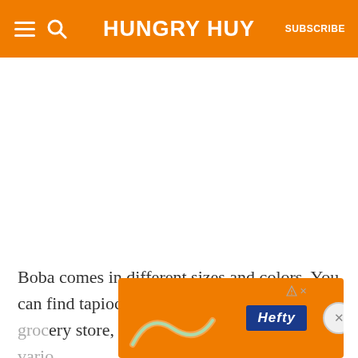HUNGRY HUY  SUBSCRIBE
[Figure (other): Blank white space placeholder for an image]
Boba comes in different sizes and colors. You can find tapioca pearls at your local Asian groc[ery store, like 99 Ranch Market or at vario[us online retailers]
[Figure (other): Advertisement banner with orange background showing Hefty logo and a decorative curve graphic. Has close (x) button and ad disclosure triangle icon.]